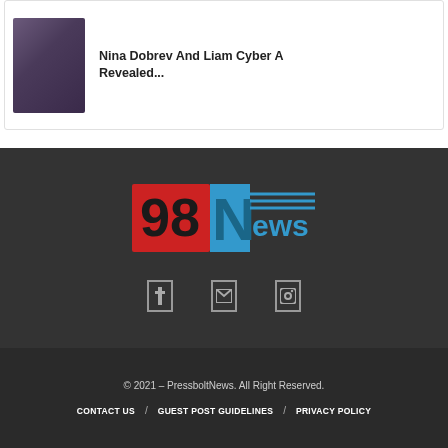[Figure (photo): Article card with photo of a woman with long dark hair wearing a fur coat, and bold headline text]
Nina Dobrev And Liam Cyber A Revealed...
[Figure (logo): 98News logo with red '98' and blue 'News' text with horizontal lines]
[Figure (infographic): Three social media icon boxes (Facebook, Twitter, Instagram) in grey outline style]
© 2021 – PressboltNews. All Right Reserved.
CONTACT US / GUEST POST GUIDELINES / PRIVACY POLICY
3 SHARES
[Figure (infographic): Social share buttons: Facebook (blue), Twitter (cyan), WhatsApp (green), Reddit (dark)]